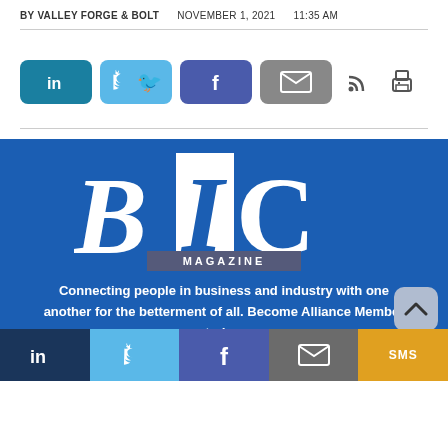BY VALLEY FORGE & BOLT   NOVEMBER 1, 2021   11:35 AM
[Figure (infographic): Social share buttons: LinkedIn (teal), Twitter (light blue), Facebook (dark blue), Email (gray), RSS icon, Print icon]
[Figure (logo): BIC Magazine logo on blue background with tagline: Connecting people in business and industry with one another for the betterment of all. Become Alliance Member today.]
Connecting people in business and industry with one another for the betterment of all. Become Alliance Member today.
[Figure (infographic): Bottom share bar with LinkedIn, Twitter, Facebook, Email, SMS buttons]